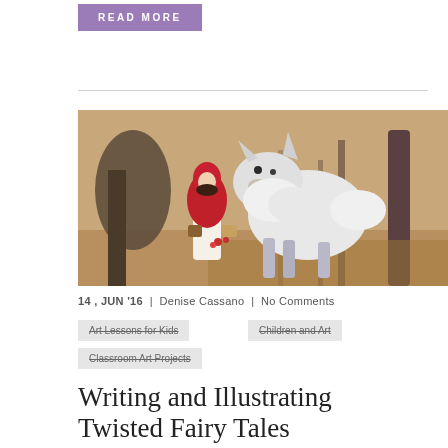READ MORE
[Figure (illustration): Fantasy illustration of Little Red Riding Hood in a red cloak and hat offering something to a large white wolf-like creature with metallic legs, standing in an autumn forest with bare brown trees]
14 , JUN '16  |  Denise Cassano  |  No Comments
Art Lessons for Kids
Children and Art
Classroom Art Projects
Writing and Illustrating Twisted Fairy Tales